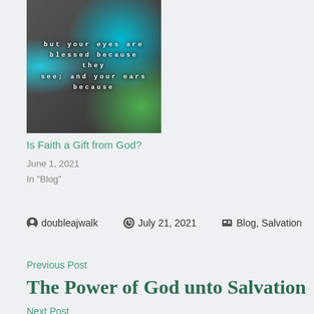[Figure (photo): Image with text 'but your eyes are blessed because they see; and your ears because' overlaid on a dark glittery background with teal/green accents]
Is Faith a Gift from God?
June 1, 2021
In "Blog"
doubleajwalk   July 21, 2021   Blog, Salvation
Previous Post
The Power of God unto Salvation
Next Post